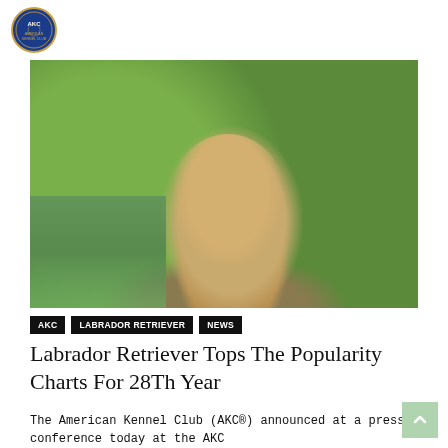[Figure (logo): AKC circular logo/seal in blue and white, top left corner]
[Figure (photo): Yellow Labrador Retriever puppy sitting outdoors near water with green foliage background, smiling with mouth open]
AKC   LABRADOR RETRIEVER   NEWS
Labrador Retriever Tops The Popularity Charts For 28Th Year
The American Kennel Club (AKC®) announced at a press conference today at the AKC